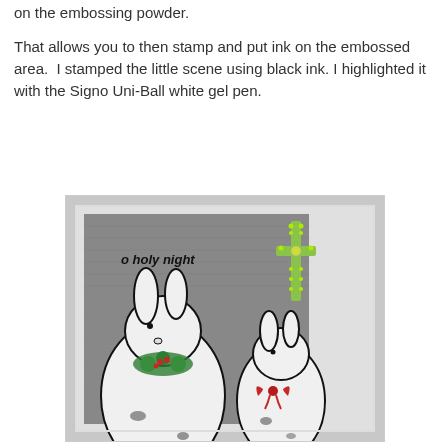on the embossing powder.
That allows you to then stamp and put ink on the embossed area.  I stamped the little scene using black ink. I highlighted it with the Signo Uni-Ball white gel pen.
[Figure (photo): A handmade Christmas card featuring two white rabbits stamped with black ink on a grey textured background. The text 'o holy night' is stamped in black. A green glittery cross embellishment is in the upper right. The larger rabbit wears a holly wreath with berries, and the smaller rabbit has a red bow. The card has a white border and dark edges.]